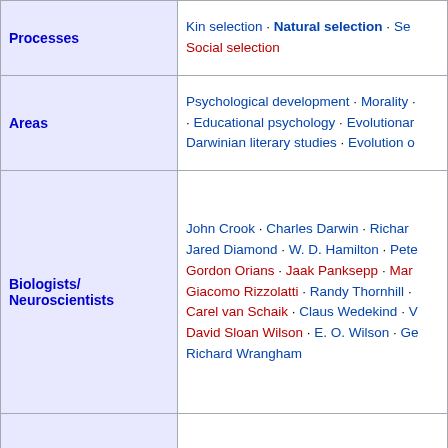| Category | Names |
| --- | --- |
| Processes | Kin selection · Natural selection · Sexual selection · Social selection |
| Areas | Psychological development · Morality · Educational psychology · Evolutionary psychology · Darwinian literary studies · Evolution of morality |
| Biologists/Neuroscientists | John Crook · Charles Darwin · Richard Dawkins · Jared Diamond · W. D. Hamilton · Peter Kropotkin · Gordon Orians · Jaak Panksepp · Marc Hauser · Giacomo Rizzolatti · Randy Thornhill · Carel van Schaik · Claus Wedekind · V.S. Ramachandran · David Sloan Wilson · E. O. Wilson · George Williams · Richard Wrangham |
| Anthropologists | Jerome H. Barkow · Robert Boyd · Napoleon Chagnon · Gregory Cochran · Robin Dunbar · Dan Sperber · Mark Flinn · Henry Harpending · John Tooby · Joseph Henrich · Ruth Mace · Daniel Nettle · Stephen Shennan · Donald Symons · Alan Fiske · Pierre van den Berghe |
| Behavioral economists/Political scientists | Samuel Bowles · Ernst Fehr · Herbert Gintis · Dominic D. P. Johnson · Gad Saad |